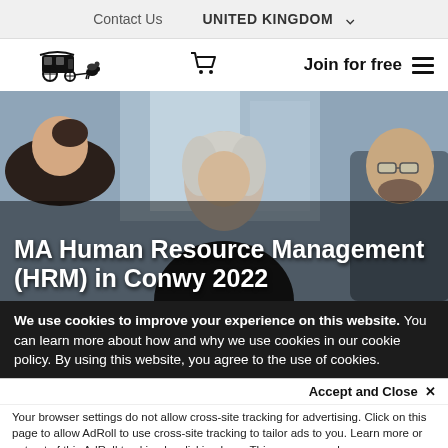Contact Us   UNITED KINGDOM ˅
[Figure (logo): Carriage with horses logo]
Join for free ≡
[Figure (photo): Three professionals in a meeting — woman with grey hair facing camera, man with beard and glasses to the right, another person from behind on the left]
MA Human Resource Management (HRM) in Conwy 2022
We use cookies to improve your experience on this website. You can learn more about how and why we use cookies in our cookie policy. By using this website, you agree to the use of cookies.
Accept and Close ×
Your browser settings do not allow cross-site tracking for advertising. Click on this page to allow AdRoll to use cross-site tracking to tailor ads to you. Learn more or opt out of this AdRoll tracking by clicking here. This message only appears once.